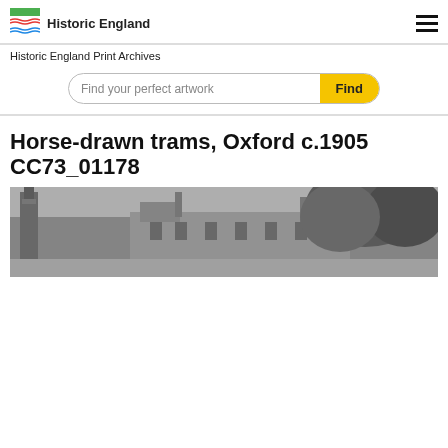Historic England
Historic England Print Archives
Find your perfect artwork
Horse-drawn trams, Oxford c.1905 CC73_01178
[Figure (photo): Black and white historical photograph showing horse-drawn trams in Oxford circa 1905, with Gothic architecture visible on the left and trees on the right.]